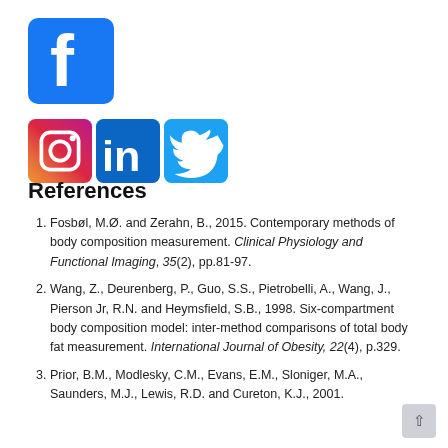[Figure (logo): Social media icons: Facebook (blue), Instagram (gradient), LinkedIn (blue), Twitter (light blue)]
References
Fosbøl, M.Ø. and Zerahn, B., 2015. Contemporary methods of body composition measurement. Clinical Physiology and Functional Imaging, 35(2), pp.81-97.
Wang, Z., Deurenberg, P., Guo, S.S., Pietrobelli, A., Wang, J., Pierson Jr, R.N. and Heymsfield, S.B., 1998. Six-compartment body composition model: inter-method comparisons of total body fat measurement. International Journal of Obesity, 22(4), p.329.
Prior, B.M., Modlesky, C.M., Evans, E.M., Sloniger, M.A., Saunders, M.J., Lewis, R.D. and Cureton, K.J., 2001.